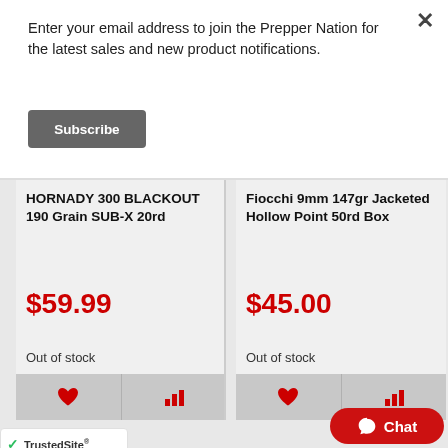Enter your email address to join the Prepper Nation for the latest sales and new product notifications.
Subscribe
HORNADY 300 BLACKOUT 190 Grain SUB-X 20rd
$59.99
Out of stock
Fiocchi 9mm 147gr Jacketed Hollow Point 50rd Box
$45.00
Out of stock
TrustedSite
Chat